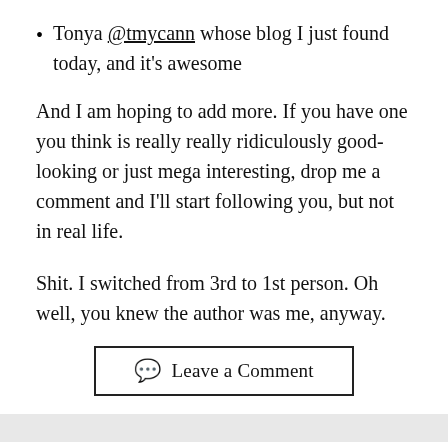Tonya @tmycann whose blog I just found today, and it's awesome
And I am hoping to add more. If you have one you think is really really ridiculously good-looking or just mega interesting, drop me a comment and I'll start following you, but not in real life.
Shit. I switched from 3rd to 1st person. Oh well, you knew the author was me, anyway.
Leave a Comment
NaNoWriMo mid-month status report